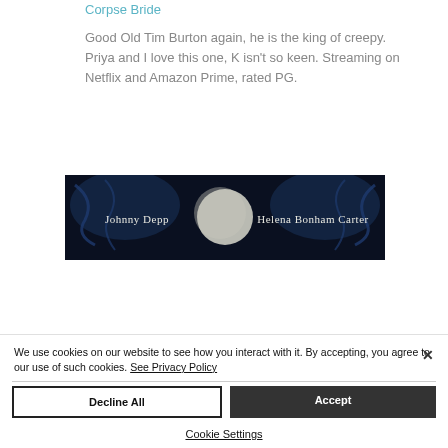Corpse Bride
Good Old Tim Burton again, he is the king of creepy.  Priya and I love this one, K isn't so keen.  Streaming on Netflix and Amazon Prime, rated PG.
[Figure (photo): Movie poster banner for Corpse Bride showing 'Johnny Depp' and 'Helena Bonham Carter' text over a dark blue moonlit background]
We use cookies on our website to see how you interact with it. By accepting, you agree to our use of such cookies. See Privacy Policy
Decline All
Accept
Cookie Settings